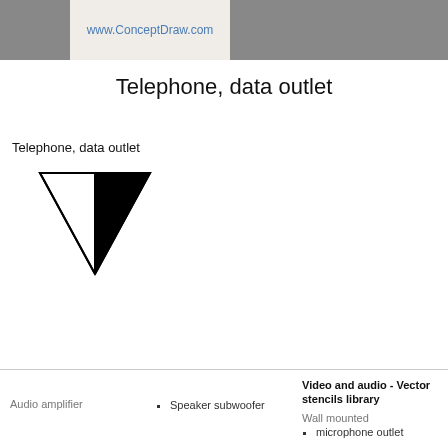www.ConceptDraw.com
Telephone, data outlet
Telephone, data outlet
[Figure (engineering-diagram): Telephone, data outlet symbol: a downward-pointing triangle, left half white/outlined, right half black filled, with an outline stroke around the full triangle.]
Video and audio - Vector stencils library
Audio amplifier
Speaker subwoofer
Wall mounted
microphone outlet